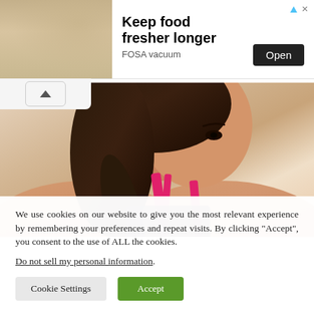[Figure (photo): Advertisement banner for FOSA vacuum food storage product. Shows a photo of food preparation on the left, with bold text 'Keep food fresher longer', subtitle 'FOSA vacuum', and an 'Open' button on the right.]
[Figure (photo): Main content image showing a young woman in a pink sports bra looking downward, with a light beige/cream background. A scroll-up chevron button appears in the top-left corner.]
We use cookies on our website to give you the most relevant experience by remembering your preferences and repeat visits. By clicking “Accept”, you consent to the use of ALL the cookies.
Do not sell my personal information.
Cookie Settings | Accept